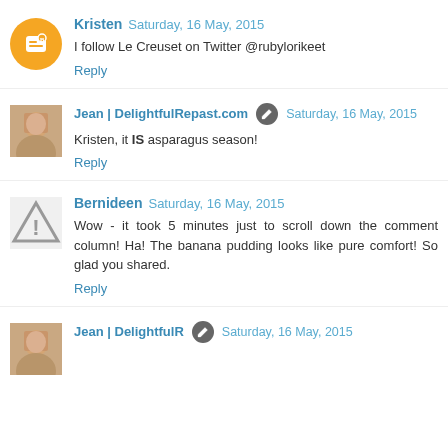Kristen Saturday, 16 May, 2015
I follow Le Creuset on Twitter @rubylorikeet
Reply
Jean | DelightfulRepast.com Saturday, 16 May, 2015
Kristen, it IS asparagus season!
Reply
Bernideen Saturday, 16 May, 2015
Wow - it took 5 minutes just to scroll down the comment column! Ha! The banana pudding looks like pure comfort! So glad you shared.
Reply
Jean | DelightfulRepast.com Saturday, 16 May, 2015